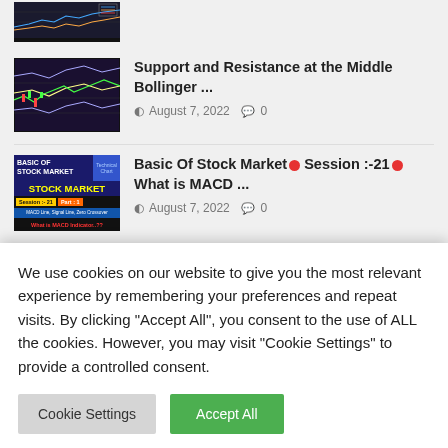[Figure (screenshot): Partial article thumbnail - stock chart screenshot at top of page]
[Figure (screenshot): Article thumbnail showing stock chart with Bollinger Bands]
Support and Resistance at the Middle Bollinger ...
August 7, 2022  0
[Figure (screenshot): Article thumbnail - Basic Of Stock Market Session 21 Part 1, MACD Indicator educational image]
Basic Of Stock Market Session :-21 What is MACD ...
August 7, 2022  0
TRENDING TOPICS
We use cookies on our website to give you the most relevant experience by remembering your preferences and repeat visits. By clicking "Accept All", you consent to the use of ALL the cookies. However, you may visit "Cookie Settings" to provide a controlled consent.
Cookie Settings
Accept All